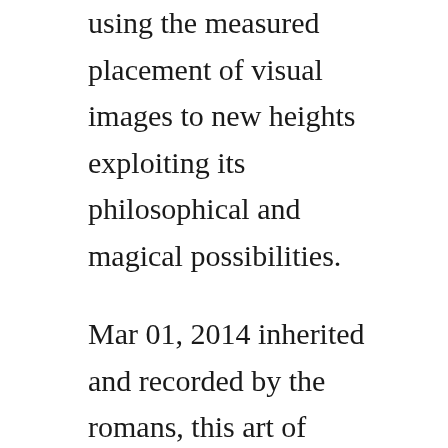using the measured placement of visual images to new heights exploiting its philosophical and magical possibilities.
Mar 01, 2014 inherited and recorded by the romans, this art of memory passed into the european tradition, to be revived, in occult form, at the renaissance and particularly by the strange and remarkable genius, giordano bruno. Unfortunately, ive only seen it available in latin so havent been able to read it. With meghan ory, luke macfarlane, art hindle, john cassini. Lets continue with some considerations on the art of